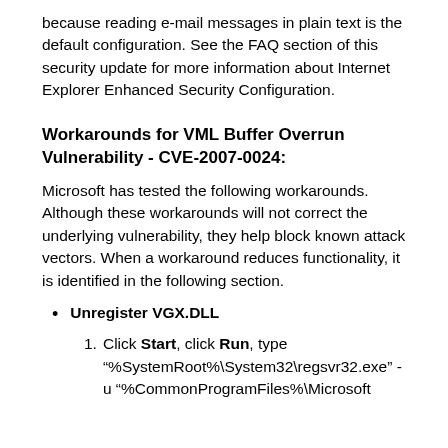because reading e-mail messages in plain text is the default configuration. See the FAQ section of this security update for more information about Internet Explorer Enhanced Security Configuration.
Workarounds for VML Buffer Overrun Vulnerability - CVE-2007-0024:
Microsoft has tested the following workarounds. Although these workarounds will not correct the underlying vulnerability, they help block known attack vectors. When a workaround reduces functionality, it is identified in the following section.
Unregister VGX.DLL
1. Click Start, click Run, type "%SystemRoot%\System32\regsvr32.exe" -u "%CommonProgramFiles%\Microsoft